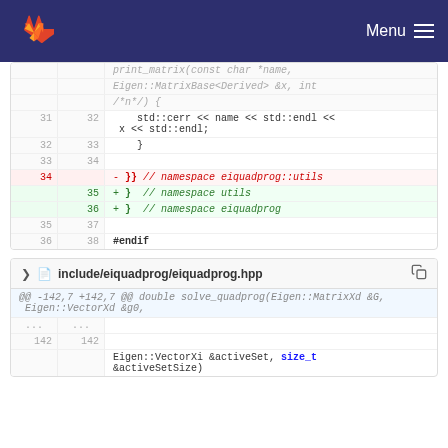GitLab navigation bar with Menu
[Figure (screenshot): Code diff view showing lines 31-38 with removed line 34 '}} // namespace eiquadprog::utils' and added lines 35-36 '} // namespace utils' and '} // namespace eiquadprog']
include/eiquadprog/eiquadprog.hpp
[Figure (screenshot): Code diff hunk header '@@ -142,7 +142,7 @@ double solve_quadprog(Eigen::MatrixXd &G, Eigen::VectorXd &g0,' and line 142 showing 'Eigen::VectorXi &activeSet, size_t']